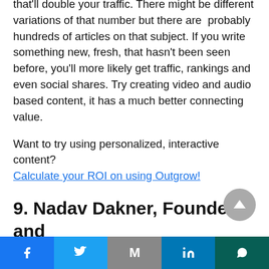that'll double your traffic. There might be different variations of that number but there are probably hundreds of articles on that subject. If you write something new, fresh, that hasn't been seen before, you'll more likely get traffic, rankings and even social shares. Try creating video and audio based content, it has a much better connecting value.
Want to try using personalized, interactive content?
Calculate your ROI on using Outgrow!
9. Nadav Dakner, Founder and CEO of InboundJunction
Facebook  Twitter  Gmail  LinkedIn  WhatsApp